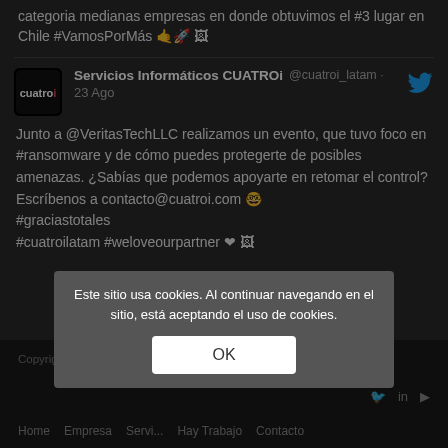categoria medianas empresas en donde obtuvimos el #3 lugar en Chile #VamosPorMás 🤙🚀 🖼
Servicios Informáticos CUATROi @cuatroi_latam · 23 Ago
Junto a @VeritasTechLLC realizamos un evento, que tuvo foco en #ransomware y de cómo puedes protegerte de posibles amenazas. ¿Sabías que podemos apoyarte en retomar el control? Escríbenos a contacto@cuatroi.com 🤓 #graciastotales #cuatroilatam #weloveourpartner ❤ 🖼
Copyright© | CUATROi | Todos los derechos reservados
Este sitio usa cookies. Al continuar navegando en el sitio, está aceptando el uso de cookies.
OK